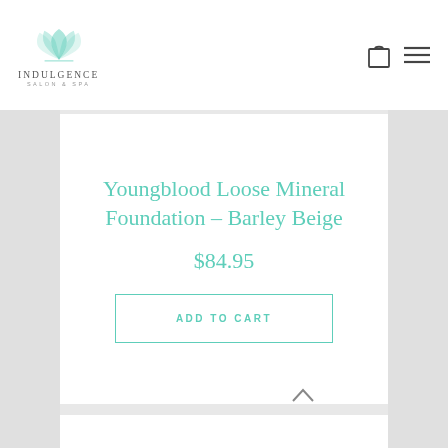Indulgence Salon & Spa — navigation header with logo, cart icon, and menu icon
Youngblood Loose Mineral Foundation – Barley Beige
$84.95
ADD TO CART